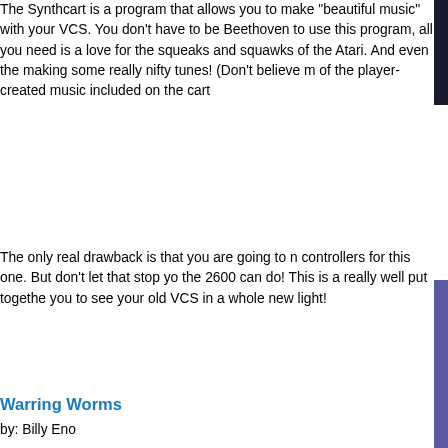The Synthcart is a program that allows you to make "beautiful music" with your VCS. You don't have to be Beethoven to use this program, all you need is a love for the squeaks and squawks of the Atari. And even the making some really nifty tunes! (Don't believe m of the player-created music included on the cart
The only real drawback is that you are going to need controllers for this one. But don't let that stop yo the 2600 can do! This is a really well put togethe you to see your old VCS in a whole new light!
Warring Worms
by: Billy Eno
This is a GREAT update to the original run Atari game "Surround." While the object of "Surround" is to, well, surround your opponent and run them into a wall, Warring Worms takes a more proactive approach to the idea and allows you to shoot at your enemy worm! Where "Surround" is worth a few minutes of your time, Warring Worms will be a bit more addictive and a LOT more fun as a addition to being able to shoot your opponent fo to tunnel through any obstacle in your path, eve worry there can be PLENTY of obstacles.
While not a big graphic upscale, Warring Worms variations for both solo, and 2 player modes. Po